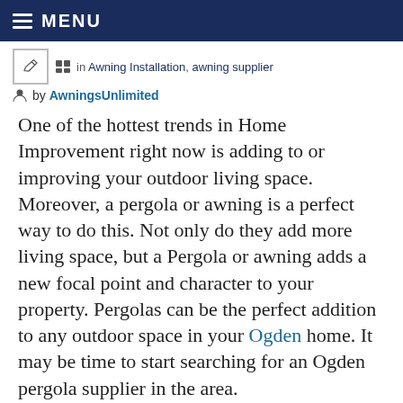MENU
in Awning Installation, awning supplier
by AwningsUnlimited
One of the hottest trends in Home Improvement right now is adding to or improving your outdoor living space. Moreover, a pergola or awning is a perfect way to do this. Not only do they add more living space, but a Pergola or awning adds a new focal point and character to your property. Pergolas can be the perfect addition to any outdoor space in your Ogden home. It may be time to start searching for an Ogden pergola supplier in the area.
Budget-Friendly Ogden Pergola Supplier